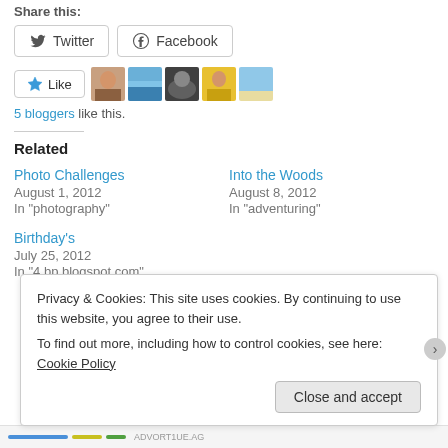Share this:
Twitter
Facebook
[Figure (other): Like button with star icon and 5 blogger avatars]
5 bloggers like this.
Related
Photo Challenges
August 1, 2012
In "photography"
Into the Woods
August 8, 2012
In "adventuring"
Birthday's
July 25, 2012
In "4.bp.blogspot.com"
Privacy & Cookies: This site uses cookies. By continuing to use this website, you agree to their use.
To find out more, including how to control cookies, see here: Cookie Policy
Close and accept